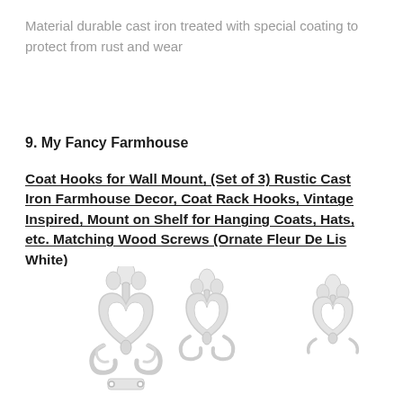Material durable cast iron treated with special coating to protect from rust and wear
9. My Fancy Farmhouse
Coat Hooks for Wall Mount, (Set of 3) Rustic Cast Iron Farmhouse Decor, Coat Rack Hooks, Vintage Inspired, Mount on Shelf for Hanging Coats, Hats, etc. Matching Wood Screws (Ornate Fleur De Lis White)
[Figure (photo): Three white cast iron ornate Fleur De Lis coat hooks arranged side by side, showing front view. The hooks are decorative with scrollwork and fleur-de-lis design, finished in white.]